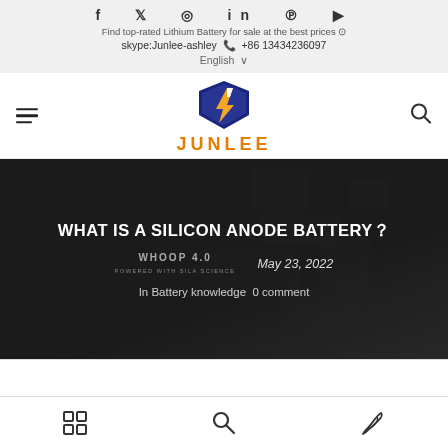Find top-rated Lithium Battery for sale at the best prices  skype:Junlee-ashley  +86 13434236097  English
[Figure (logo): JUNLEE brand logo with blue shield and yellow lightning bolt, orange JUNLEE text]
WHAT IS A SILICON ANODE BATTERY?
WHOOP 4.0 POWERED WITH SILA SCIENCE   May 23, 2022
In Battery knowledge 0 comment
Grid view | Search | Write